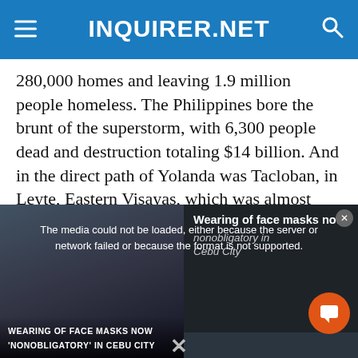INQUIRER.NET
280,000 homes and leaving 1.9 million people homeless. The Philippines bore the brunt of the superstorm, with 6,300 people dead and destruction totaling $14 billion. And in the direct path of Yolanda was Tacloban, in Leyte, Eastern Visayas, which was almost entirely flattened.
Recovery efforts in Tacloban have been laudable, but six years later the city's struggle to get back on
[Figure (screenshot): Embedded media player showing error message 'The media could not be loaded, either because the server or network failed or because the format is not supported.' with background showing a news story about 'Wearing of face masks now nonobligatory in Cebu City'. An X close button and orange chat button are visible.]